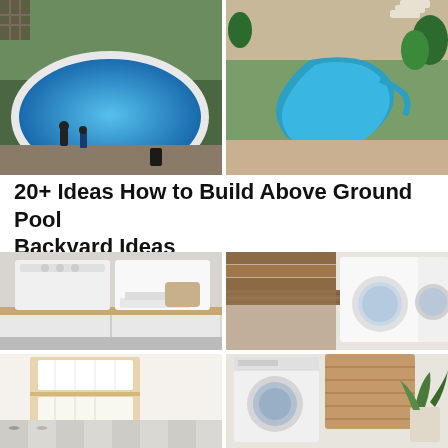[Figure (photo): Two-photo collage of above ground pool backyard ideas: left photo shows a round above-ground pool being filled with two people nearby, surrounded by gravel landscaping; right photo shows a luxury freeform in-ground pool with infinity edge and surrounding stone patio from aerial view]
20+ Ideas How to Build Above Ground Pool Backyard Ideas
[Figure (photo): Four-photo collage of laundry room ideas: top-left shows white stacked washer/dryer with folded towels; top-right shows front-loading washer and dryer with reclaimed wood countertop; bottom-left shows open shelving cabinet with laundry baskets on patterned tile floor; bottom-right shows front-loading washer with wooden storage cabinet and plant]